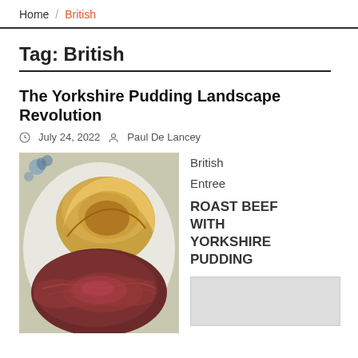Home / British
Tag: British
The Yorkshire Pudding Landscape Revolution
July 24, 2022   Paul De Lancey
[Figure (photo): Photo of roast beef with Yorkshire pudding on a plate with floral design]
British
Entree
ROAST BEEF WITH YORKSHIRE PUDDING